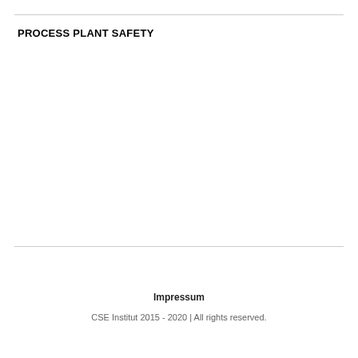PROCESS PLANT SAFETY
Impressum
CSE Institut 2015 - 2020 | All rights reserved.